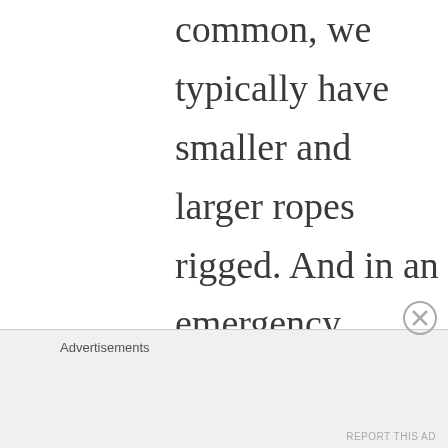common, we typically have smaller and larger ropes rigged. And in an emergency situation it would be disastrous to put an id on a rope that was too small and having the l'd fail during the
Advertisements